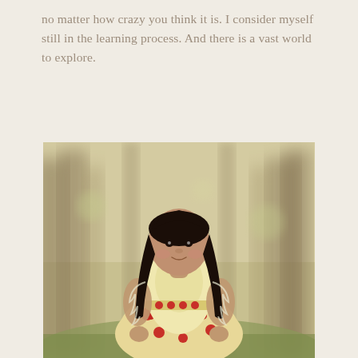no matter how crazy you think it is. I consider myself still in the learning process. And there is a vast world to explore.
[Figure (photo): A young girl with long dark hair wearing a cream/yellow dress decorated with red floral embroidery, standing in a park with trees in the background. The photo has a soft, bokeh background with warm tones.]